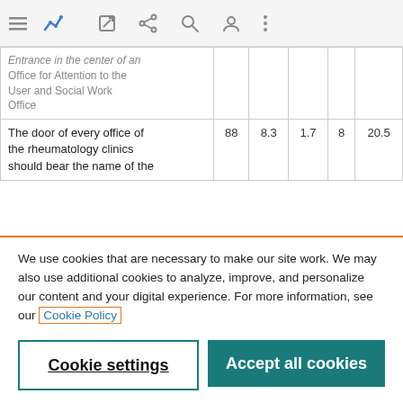[Figure (screenshot): Browser toolbar with hamburger menu, chart icon, edit icon, share icon, search icon, user icon, and overflow menu icon]
| Entrance in the center of an Office for Attention to the User and Social Work Office |  |  |  |  |  |
| The door of every office of the rheumatology clinics should bear the name of the | 88 | 8.3 | 1.7 | 8 | 20.5 |
We use cookies that are necessary to make our site work. We may also use additional cookies to analyze, improve, and personalize our content and your digital experience. For more information, see our Cookie Policy